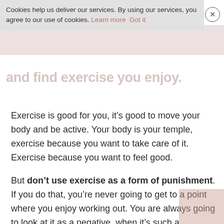Cookies help us deliver our services. By using our services, you agree to our use of cookies. Learn more Got it
and find exercise you enjoy.
Exercise is good for you, it’s good to move your body and be active. Your body is your temple, exercise because you want to take care of it. Exercise because you want to feel good.
But don’t use exercise as a form of punishment. If you do that, you’re never going to get to a point where you enjoy working out. You are always going to look at it as a negative, when it’s such a